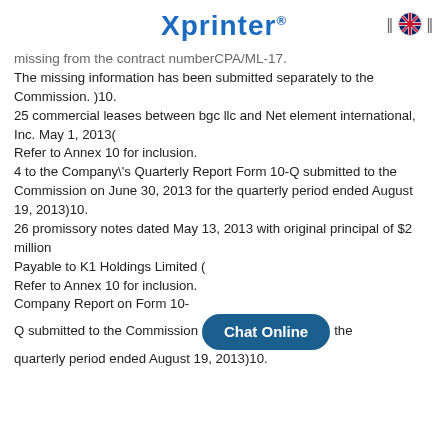Xprinter®
missing from the contract numberCPA/ML-17. The missing information has been submitted separately to the Commission. )10. 25 commercial leases between bgc llc and Net element international, Inc. May 1, 2013( Refer to Annex 10 for inclusion. 4 to the Company\'s Quarterly Report Form 10-Q submitted to the Commission on June 30, 2013 for the quarterly period ended August 19, 2013)10. 26 promissory notes dated May 13, 2013 with original principal of $2 million Payable to K1 Holdings Limited ( Refer to Annex 10 for inclusion. Company Report on Form 10-Q submitted to the Commission [Chat Online] the quarterly period ended August 19, 2013)10.